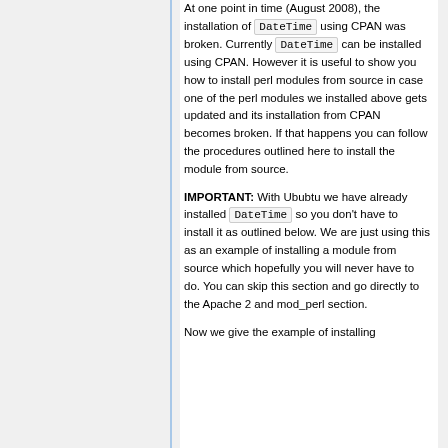At one point in time (August 2008), the installation of DateTime using CPAN was broken. Currently DateTime can be installed using CPAN. However it is useful to show you how to install perl modules from source in case one of the perl modules we installed above gets updated and its installation from CPAN becomes broken. If that happens you can follow the procedures outlined here to install the module from source.
IMPORTANT: With Ububtu we have already installed DateTime so you don't have to install it as outlined below. We are just using this as an example of installing a module from source which hopefully you will never have to do. You can skip this section and go directly to the Apache 2 and mod_perl section.
Now we give the example of installing